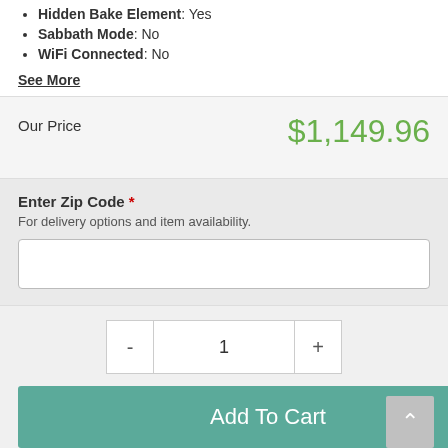Hidden Bake Element: Yes
Sabbath Mode: No
WiFi Connected: No
See More
Our Price  $1,149.96
Enter Zip Code * For delivery options and item availability.
- 1 +
Add To Cart